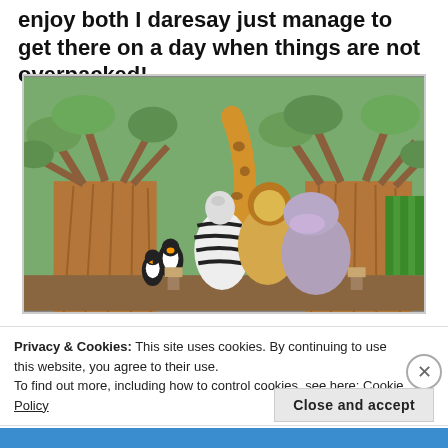enjoy both I daresay just manage to get there on a day when things are not overpacked!
[Figure (photo): Madagascar-themed cartoon character statues (giraffe, zebra, lion, hippo, penguins) posed among large baobab tree sculptures at a theme park attraction.]
Privacy & Cookies: This site uses cookies. By continuing to use this website, you agree to their use.
To find out more, including how to control cookies, see here: Cookie Policy
Close and accept